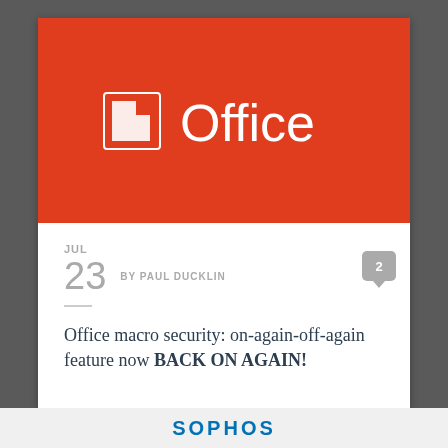[Figure (logo): Microsoft Office logo: white square with folded corner icon and 'Office' text on red background]
JUL
23  BY PAUL DUCKLIN  2
Office macro security: on-again-off-again feature now BACK ON AGAIN!
[Figure (logo): Sophos logo in blue at the bottom]